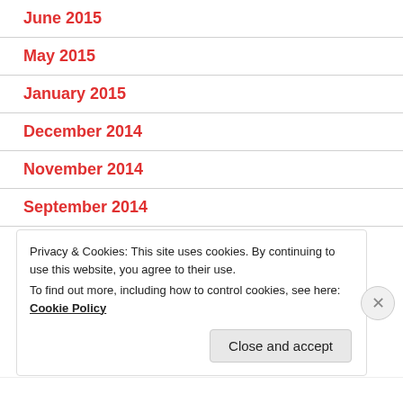June 2015
May 2015
January 2015
December 2014
November 2014
September 2014
Privacy & Cookies: This site uses cookies. By continuing to use this website, you agree to their use.
To find out more, including how to control cookies, see here:
Cookie Policy
Close and accept